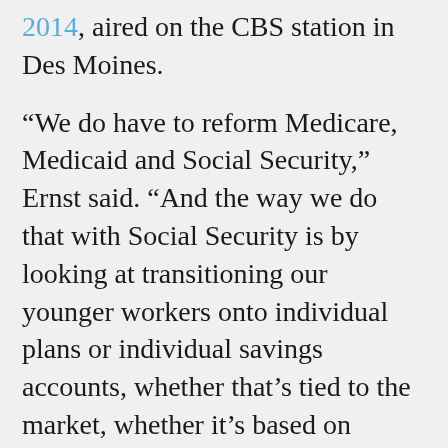2014, aired on the CBS station in Des Moines.
“We do have to reform Medicare, Medicaid and Social Security,” Ernst said. “And the way we do that with Social Security is by looking at transitioning our younger workers onto individual plans or individual savings accounts, whether that’s tied to the market, whether it’s based on interest rates -- however we want to do that, we can have that discussion.”
(Ernst’s statement was scrutinized by the fact-checking service PolitiFact, which wanted to judge whether an ad by her Democratic opponents was accurate in claiming she “would privatize Social